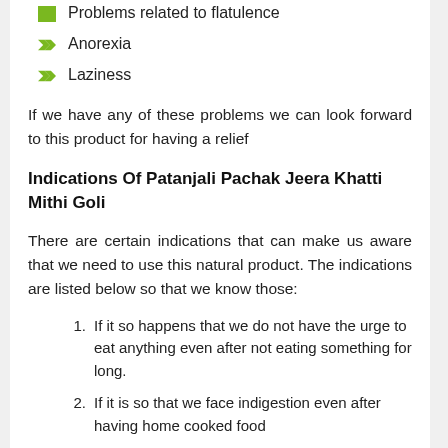Problems related to flatulence
Anorexia
Laziness
If we have any of these problems we can look forward to this product for having a relief
Indications Of Patanjali Pachak Jeera Khatti Mithi Goli
There are certain indications that can make us aware that we need to use this natural product. The indications are listed below so that we know those:
If it so happens that we do not have the urge to eat anything even after not eating something for long.
If it is so that we face indigestion even after having home cooked food
Having problems with formation of gas in the